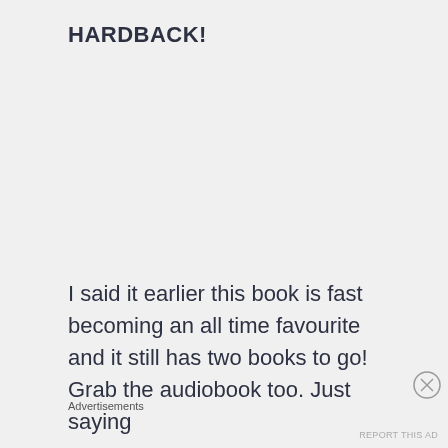HARDBACK!
I said it earlier this book is fast becoming an all time favourite and it still has two books to go! Grab the audiobook too. Just saying
Advertisements
REPORT THIS AD